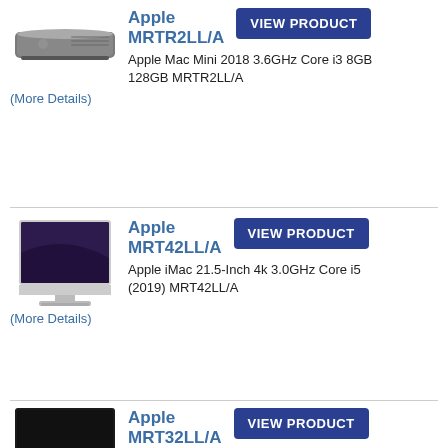[Figure (photo): Apple Mac Mini compact desktop computer, space gray, top view]
Apple MRTR2LL/A
VIEW PRODUCT
Apple Mac Mini 2018 3.6GHz Core i3 8GB 128GB MRTR2LL/A
(More Details)
[Figure (photo): Apple iMac 21.5-inch desktop computer with dark wallpaper on screen]
Apple MRT42LL/A
VIEW PRODUCT
Apple iMac 21.5-Inch 4k 3.0GHz Core i5 (2019) MRT42LL/A
(More Details)
[Figure (photo): Apple product partial image at bottom]
Apple MRT32LL/A
VIEW PRODUCT